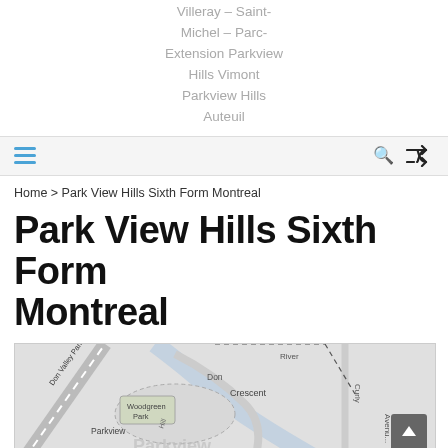Villeray – Saint-Michel – Parc-Extension Parkview Hills Vimont Parkview Hills Auteuil
[Figure (screenshot): Navigation bar with hamburger menu (blue lines), search icon, and shuffle/random icon on light gray background]
Home > Park View Hills Sixth Form Montreal
Park View Hills Sixth Form Montreal
[Figure (map): Street map showing Parkview Hills area with Don Valley Parkway, Don River, Crescent, Woodgreen Park, Curly Avenue labels, and a scroll-up button overlay]